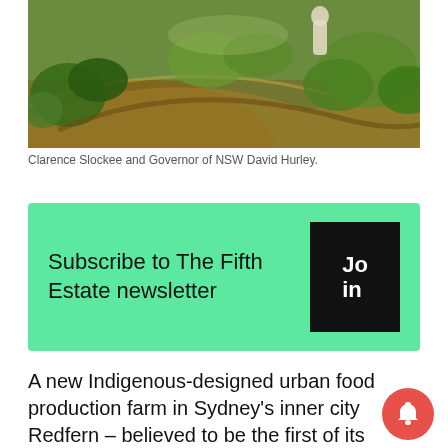[Figure (photo): Garden photo showing a curved mulch path through green leafy plants and herbs, with a person visible in the background wearing light colored clothing.]
Clarence Slockee and Governor of NSW David Hurley.
Subscribe to The Fifth Estate newsletter
A new Indigenous-designed urban food production farm in Sydney's inner city Redfern – believed to be the first of its kind in Australia – is a prototype that its creators hope will be replicated by other people, especially other Indigenous communities.